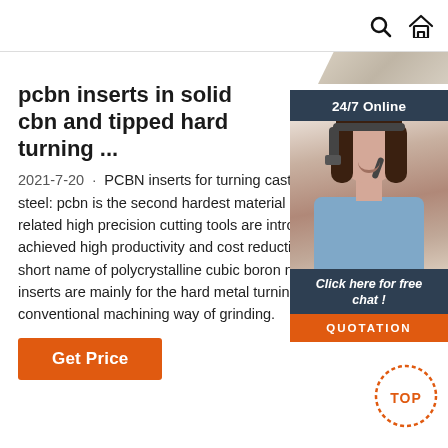🔍 🏠
[Figure (photo): Partial view of a product image (stone/metal material) visible at top right]
[Figure (illustration): 24/7 Online chat widget with photo of customer service representative, 'Click here for free chat!' text, and orange QUOTATION button]
pcbn inserts in solid cbn and tipped hard turning ...
2021-7-20 · PCBN inserts for turning cast iron and hardened steel: pcbn is the second hardest material in the world, and cbn related high precision cutting tools are introduced to industry, achieved high productivity and cost reductions. pcbn is the short name of polycrystalline cubic boron nitride, and pcbn inserts are mainly for the hard metal turning to replace the conventional machining way of grinding.
[Figure (illustration): Orange 'TOP' button with dotted circle border for scrolling to top of page]
Get Price